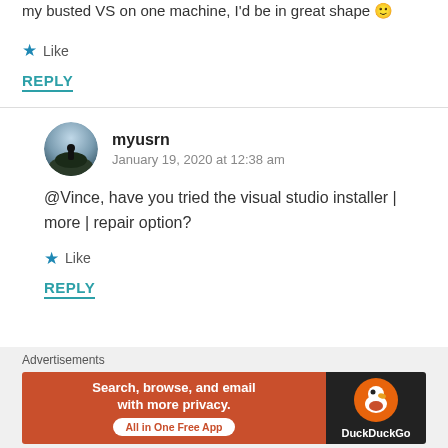my busted VS on one machine, I'd be in great shape 🙂
★ Like
REPLY
myusrn
January 19, 2020 at 12:38 am
@Vince, have you tried the visual studio installer | more | repair option?
★ Like
REPLY
[Figure (infographic): DuckDuckGo advertisement banner: orange background with text 'Search, browse, and email with more privacy.' and 'All in One Free App' CTA button, alongside DuckDuckGo logo on black background]